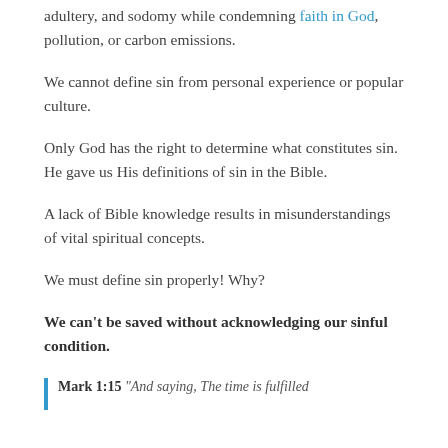adultery, and sodomy while condemning faith in God, pollution, or carbon emissions.
We cannot define sin from personal experience or popular culture.
Only God has the right to determine what constitutes sin. He gave us His definitions of sin in the Bible.
A lack of Bible knowledge results in misunderstandings of vital spiritual concepts.
We must define sin properly! Why?
We can't be saved without acknowledging our sinful condition.
Mark 1:15 "And saying, The time is fulfilled..."